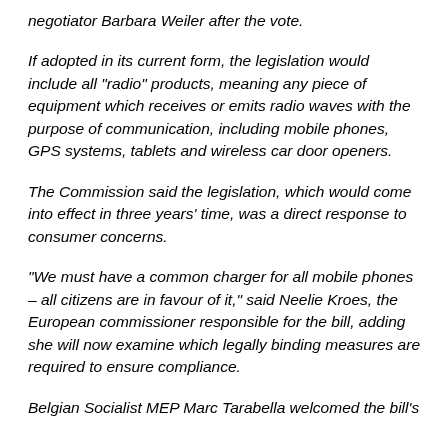negotiator Barbara Weiler after the vote.
If adopted in its current form, the legislation would include all "radio" products, meaning any piece of equipment which receives or emits radio waves with the purpose of communication, including mobile phones, GPS systems, tablets and wireless car door openers.
The Commission said the legislation, which would come into effect in three years’ time, was a direct response to consumer concerns.
"We must have a common charger for all mobile phones – all citizens are in favour of it," said Neelie Kroes, the European commissioner responsible for the bill, adding she will now examine which legally binding measures are required to ensure compliance.
Belgian Socialist MEP Marc Tarabella welcomed the bill’s